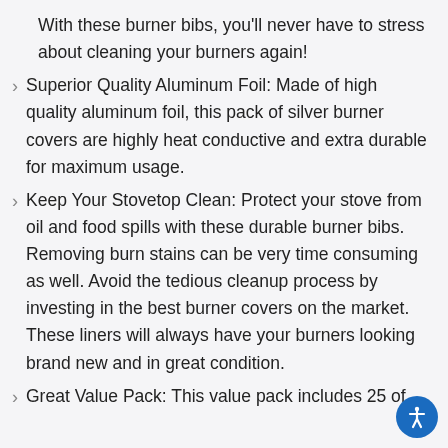With these burner bibs, you'll never have to stress about cleaning your burners again!
Superior Quality Aluminum Foil: Made of high quality aluminum foil, this pack of silver burner covers are highly heat conductive and extra durable for maximum usage.
Keep Your Stovetop Clean: Protect your stove from oil and food spills with these durable burner bibs. Removing burn stains can be very time consuming as well. Avoid the tedious cleanup process by investing in the best burner covers on the market. These liners will always have your burners looking brand new and in great condition.
Great Value Pack: This value pack includes 25 of